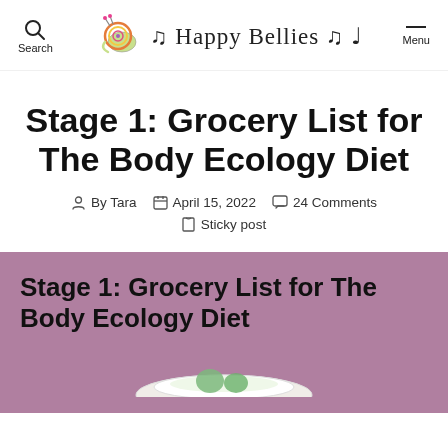Search | Happy Bellies | Menu
Stage 1: Grocery List for The Body Ecology Diet
By Tara   April 15, 2022   24 Comments   Sticky post
Stage 1: Grocery List for The Body Ecology Diet
[Figure (illustration): Partial view of a plate with food, shown at bottom of purple section]